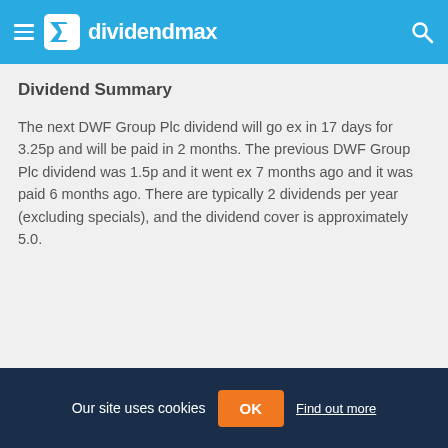dividendmax
Dividend Summary
The next DWF Group Plc dividend will go ex in 17 days for 3.25p and will be paid in 2 months. The previous DWF Group Plc dividend was 1.5p and it went ex 7 months ago and it was paid 6 months ago. There are typically 2 dividends per year (excluding specials), and the dividend cover is approximately 5.0.
Our site uses cookies  OK  Find out more